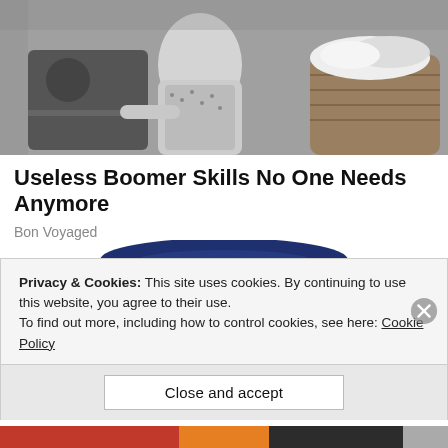[Figure (photo): Black and white vintage photo of a woman in a floral dress reaching into an oven, with a basket of laundry visible beside her.]
Useless Boomer Skills No One Needs Anymore
Bon Voyaged
[Figure (illustration): Colorful illustrated character of an elderly man with white hair wearing a large dark navy blue cowboy hat, reminiscent of the Quaker Oats mascot, peeking from below center of the frame.]
Privacy & Cookies: This site uses cookies. By continuing to use this website, you agree to their use.
To find out more, including how to control cookies, see here: Cookie Policy
Close and accept